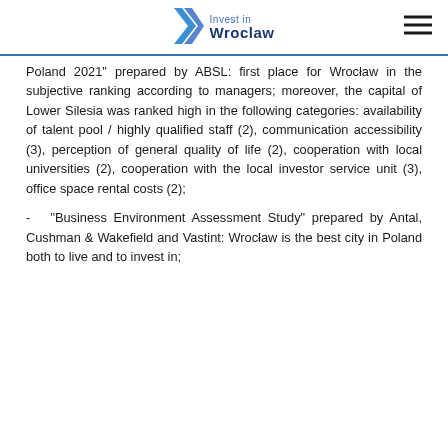Invest in Wroclaw
Poland 2021" prepared by ABSL: first place for Wrocław in the subjective ranking according to managers; moreover, the capital of Lower Silesia was ranked high in the following categories: availability of talent pool / highly qualified staff (2), communication accessibility (3), perception of general quality of life (2), cooperation with local universities (2), cooperation with the local investor service unit (3), office space rental costs (2);
- "Business Environment Assessment Study" prepared by Antal, Cushman & Wakefield and Vastint: Wrocław is the best city in Poland both to live and to invest in;